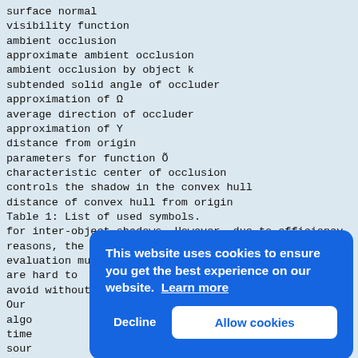surface normal
visibility function
ambient occlusion
approximate ambient occlusion
ambient occlusion by object k
subtended solid angle of occluder
approximation of Ω
average direction of occluder
approximation of Υ
distance from origin
parameters for function Õ
characteristic center of occlusion
controls the shadow in the convex hull
distance of convex hull from origin
Table 1: List of used symbols.
for inter-object shadows. However, due to efficiency reasons, the
evaluation must be done per-vertex and thus artifacts are hard to
avoid without highly tessellated geometry.
Our
algo
time
sour
et a
time
shad
Deep
piec
line
repr
source. Unlike conventional shadow
[Figure (screenshot): Cookie consent overlay banner on blue background with text 'This website uses cookies to ensure you get the best experience on our website. Learn more' and two buttons: 'Decline' and 'Allow cookies']